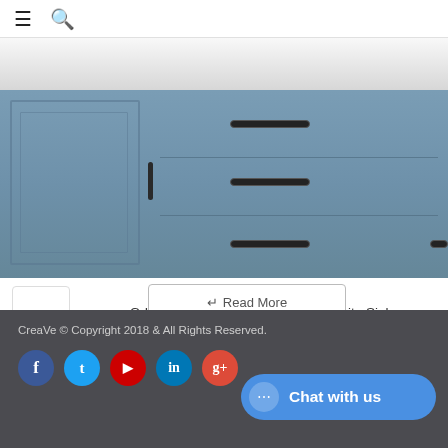☰ 🔍
[Figure (photo): Blue/grey bathroom vanity cabinet with marble top, black drawer pulls and cabinet hardware. Multiple drawers visible.]
G-U7646G | Square Dual Bowl Granite Sink
↵ Read More
View: 12
CreaVe © Copyright 2018 & All Rights Reserved.
Chat with us